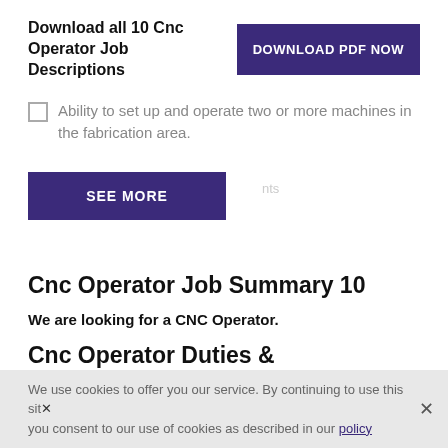Download all 10 Cnc Operator Job Descriptions
Ability to set up and operate two or more machines in the fabrication area.
SEE MORE
Cnc Operator Job Summary 10
We are looking for a CNC Operator.
Cnc Operator Duties & Responsibilities 10
We use cookies to offer you our service. By continuing to use this site you consent to our use of cookies as described in our policy